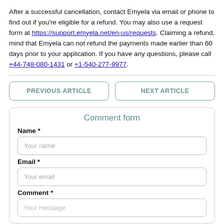After a successful cancellation, contact Emyela via email or phone to find out if you're eligible for a refund. You may also use a request form at https://support.emyela.net/en-us/requests. Claiming a refund, mind that Emyela can not refund the payments made earlier than 60 days prior to your application. If you have any questions, please call +44-748-080-1431 or +1-540-277-9977.
PREVIOUS ARTICLE
NEXT ARTICLE
Comment form
Name *
Your name
Email *
Your email
Comment *
Your message